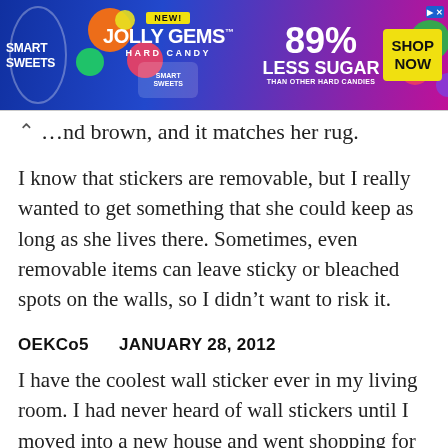[Figure (other): SmartSweets Jolly Gems Hard Candy advertisement banner. Blue and pink gradient background. Text reads: SMART SWEETS, NEW!, JOLLY GEMS HARD CANDY, 89% LESS SUGAR THAN OTHER HARD CANDIES, SHOP NOW button.]
…nd brown, and it matches her rug.
I know that stickers are removable, but I really wanted to get something that she could keep as long as she lives there. Sometimes, even removable items can leave sticky or bleached spots on the walls, so I didn't want to risk it.
OEKC05     JANUARY 28, 2012
I have the coolest wall sticker ever in my living room. I had never heard of wall stickers until I moved into a new house and went shopping for